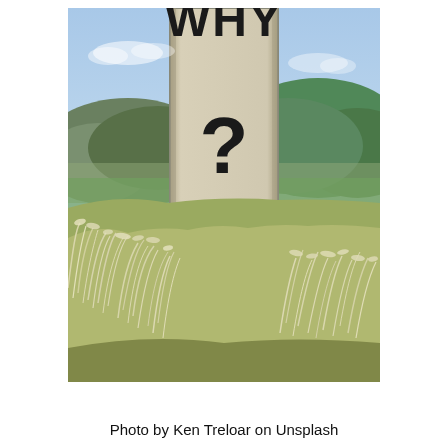[Figure (photo): Outdoor photo of a large sign or billboard displaying 'WHY ?' in bold black letters, set against a landscape with green hills and mountains in the background, and a foreground of wild white grasses swaying in the wind.]
Photo by Ken Treloar on Unsplash